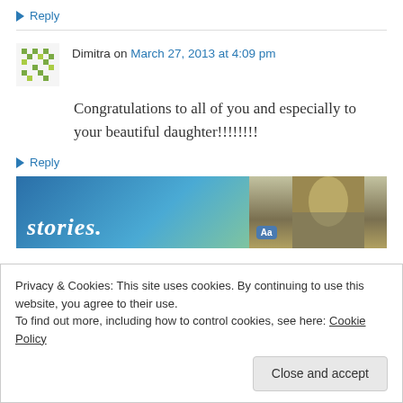↳ Reply
Dimitra on March 27, 2013 at 4:09 pm
Congratulations to all of you and especially to your beautiful daughter!!!!!!!!
↳ Reply
[Figure (screenshot): Website banner with text 'stories.' on blue-green gradient background and a partial photo on the right]
Privacy & Cookies: This site uses cookies. By continuing to use this website, you agree to their use. To find out more, including how to control cookies, see here: Cookie Policy
Close and accept